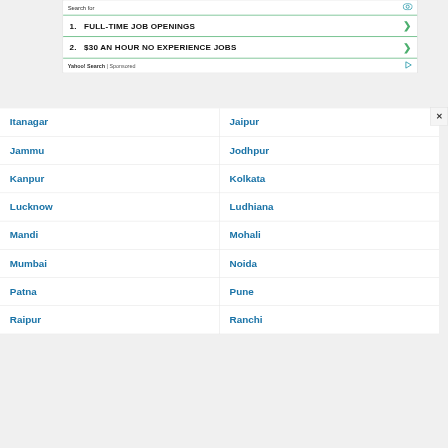[Figure (screenshot): Yahoo Search sponsored advertisement banner showing 'Search for' header with eye icon, listing two sponsored results: 1. FULL-TIME JOB OPENINGS and 2. $30 AN HOUR NO EXPERIENCE JOBS, with Yahoo! Search | Sponsored footer]
| Itanagar | Jaipur |
| Jammu | Jodhpur |
| Kanpur | Kolkata |
| Lucknow | Ludhiana |
| Mandi | Mohali |
| Mumbai | Noida |
| Patna | Pune |
| Raipur | Ranchi |